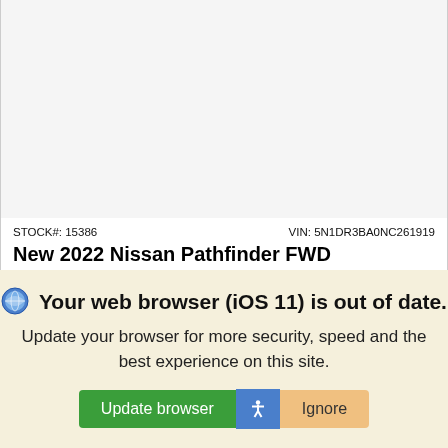[Figure (photo): Car image area (white/light gray placeholder for vehicle photo)]
STOCK#: 15386    VIN: 5N1DR3BA0NC261919
New 2022 Nissan Pathfinder FWD
SV SUV Sport Utility 9-Speed Automatic w/OD
MSRP
$39,610
Your web browser (iOS 11) is out of date.
Update your browser for more security, speed and the best experience on this site.
Update browser   Ignore